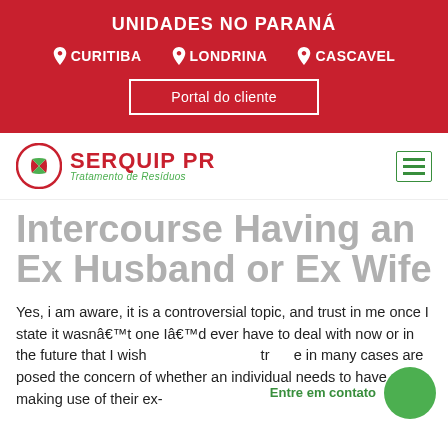UNIDADES NO PARANÁ
CURITIBA
LONDRINA
CASCAVEL
Portal do cliente
[Figure (logo): Serquip PR logo with circular icon and text 'SERQUIP PR / Tratamento de Resíduos']
Intercourse Having an Ex Husband or Ex Wife
Yes, i am aware, it is a controversial topic, and trust in me once I state it wasnâ€™t one Iâ€™d ever have to deal with now or in the future that I wish tr e in many cases are posed the concern of whether an individual needs to have sex making use of their ex-